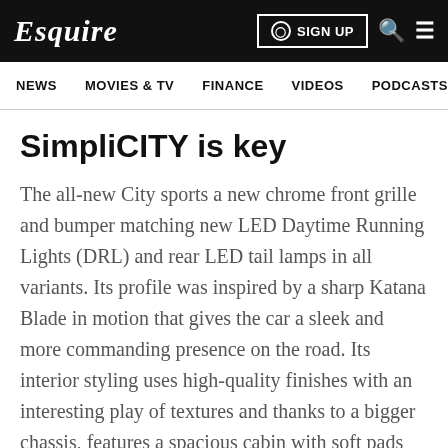Esquire | SIGN UP
NEWS   MOVIES & TV   FINANCE   VIDEOS   PODCASTS
SimpliCITY is key
The all-new City sports a new chrome front grille and bumper matching new LED Daytime Running Lights (DRL) and rear LED tail lamps in all variants. Its profile was inspired by a sharp Katana Blade in motion that gives the car a sleek and more commanding presence on the road. Its interior styling uses high-quality finishes with an interesting play of textures and thanks to a bigger chassis, features a spacious cabin with soft pads and polished surfaces, with accents to give it a more premium feel. The center console offers an